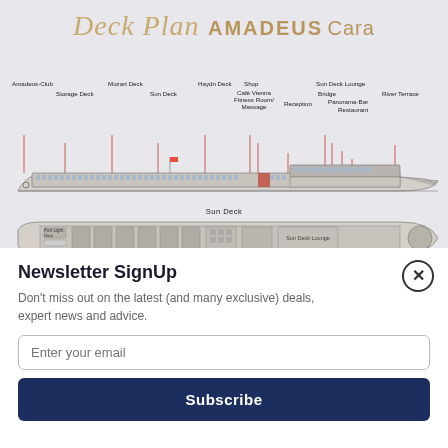Deck Plan AMADEUS Cara
[Figure (schematic): Side-view and top-view deck plan schematic of the AMADEUS Cara river cruise ship. Side view shows labeled areas: Amadeus-Club, Storage Deck, Mozart Deck, Sun Deck, Haydn Deck, Sun Deck, Shop, Café Vienna, Fitness Room/Massage, Reception, Bridge, Sun Deck Lounge, Panorama-Bar, Restaurant, River Terrace. Top view shows Sun Deck layout with cabin arrangements and Sun Deck Lounge.]
Newsletter SignUp
Don't miss out on the latest (and many exclusive) deals, expert news and advice.
Enter your email
Subscribe